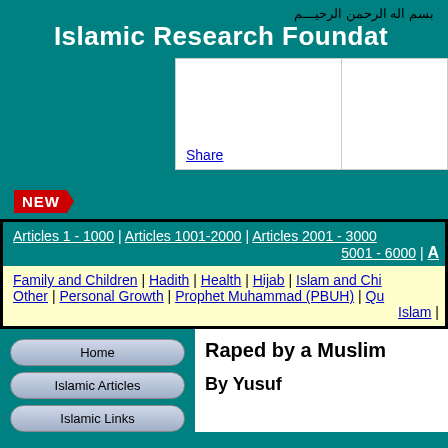Islamic Research Foundation
[Figure (other): Share button/link area with two white boxes side by side]
[Figure (other): NEW badge/arrow graphic in red]
Articles 1 - 1000 | Articles 1001-2000 | Articles 2001 - 3000 | 5001 - 6000 | A
Family and Children | Hadith | Health | Hijab | Islam and Ch... Other | Personal Growth | Prophet Muhammad (PBUH) | Qu... Islam |
Home
Islamic Articles
Islamic Links
Raped by a Muslim
By Yusuf